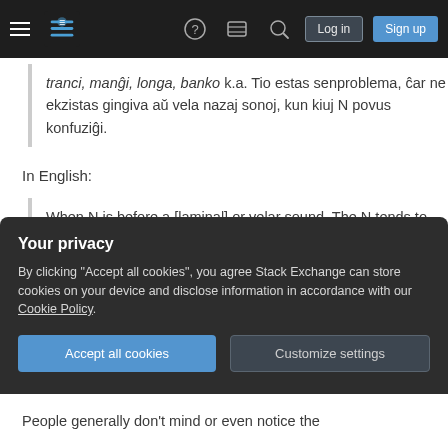[Figure (screenshot): Stack Exchange navigation bar with hamburger menu, logo, help icon, chat icon, search icon, Log in button, and Sign up button]
tranci, manĝi, longa, banko k.a. Tio estas senproblema, ĉar ne ekzistas gingiva aŭ vela nazaj sonoj, kun kiuj N povus konfuziĝi.
In English:
When N is before a [laminal] or velar sound, The N tends to become a [laminal] sound (small difference), or a velar sound
Your privacy
By clicking "Accept all cookies", you agree Stack Exchange can store cookies on your device and disclose information in accordance with our Cookie Policy.
Accept all cookies
Customize settings
People generally don't mind or even notice the